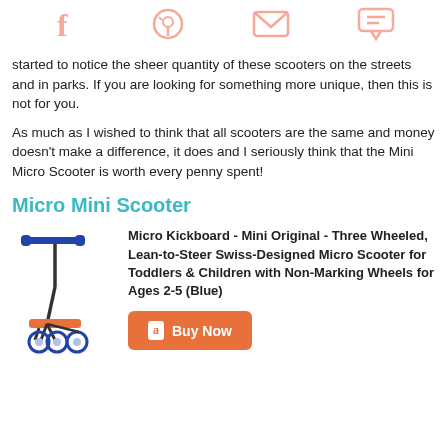[Figure (illustration): Social sharing icons bar: Facebook, Pinterest, Email, Comment icons in light salmon/pink color]
started to notice the sheer quantity of these scooters on the streets and in parks. If you are looking for something more unique, then this is not for you.
As much as I wished to think that all scooters are the same and money doesn't make a difference, it does and I seriously think that the Mini Micro Scooter is worth every penny spent!
Micro Mini Scooter
[Figure (photo): Blue Mini Micro Scooter - three wheeled children's scooter with blue handlebars and orange foot platform]
Micro Kickboard - Mini Original - Three Wheeled, Lean-to-Steer Swiss-Designed Micro Scooter for Toddlers & Children with Non-Marking Wheels for Ages 2-5 (Blue)
[Figure (other): Amazon Buy Now button in orange with Amazon logo]